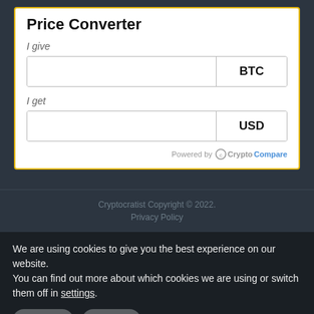Price Converter
I give
BTC
I get
USD
Powered by CryptoCompare
Cryptocratist Copyright © 2022.
Privacy Policy
We are using cookies to give you the best experience on our website.
You can find out more about which cookies we are using or switch them off in settings.
Accept
Reject